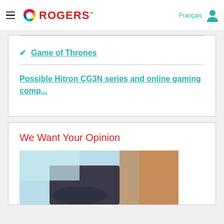Rogers — Français — [user icon]
✓ Game of Thrones
Possible Hitron CG3N series and online gaming comp...
We Want Your Opinion
[Figure (photo): Person using a laptop or tablet, partially visible, warm background lighting]